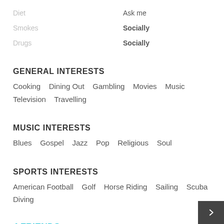Diet — Ask me
Smokes — Socially
Drugs — Socially
GENERAL INTERESTS
Cooking   Dining Out   Gambling   Movies   Music   Television   Travelling
MUSIC INTERESTS
Blues   Gospel   Jazz   Pop   Religious   Soul
SPORTS INTERESTS
American Football   Golf   Horse Riding   Sailing   Scuba Diving
4 FRIENDS